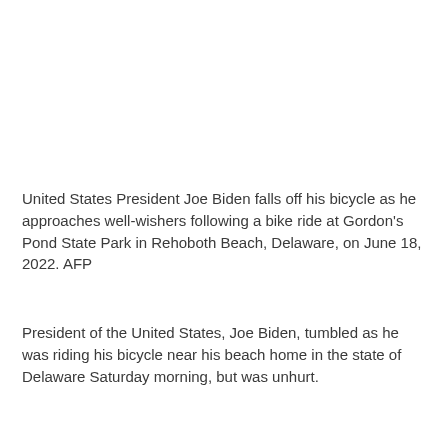United States President Joe Biden falls off his bicycle as he approaches well-wishers following a bike ride at Gordon's Pond State Park in Rehoboth Beach, Delaware, on June 18, 2022. AFP
President of the United States, Joe Biden, tumbled as he was riding his bicycle near his beach home in the state of Delaware Saturday morning, but was unhurt.